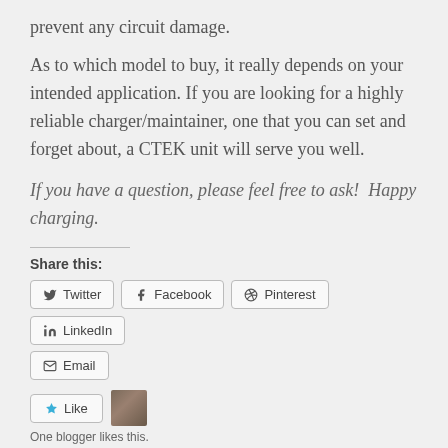prevent any circuit damage.
As to which model to buy, it really depends on your intended application. If you are looking for a highly reliable charger/maintainer, one that you can set and forget about, a CTEK unit will serve you well.
If you have a question, please feel free to ask!  Happy charging.
Share this:
Twitter  Facebook  Pinterest  LinkedIn  Email
Like  One blogger likes this.